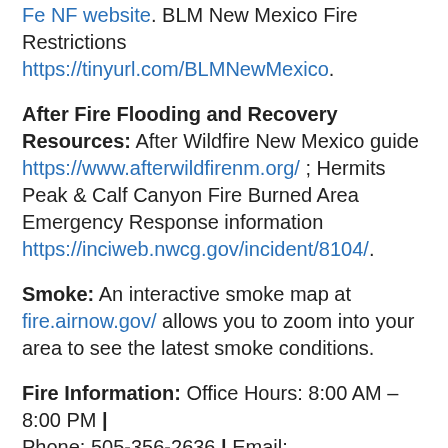Fe NF website. BLM New Mexico Fire Restrictions https://tinyurl.com/BLMNewMexico.
After Fire Flooding and Recovery Resources: After Wildfire New Mexico guide https://www.afterwildfirenm.org/ ; Hermits Peak & Calf Canyon Fire Burned Area Emergency Response information https://inciweb.nwcg.gov/incident/8104/.
Smoke: An interactive smoke map at fire.airnow.gov/ allows you to zoom into your area to see the latest smoke conditions.
Fire Information: Office Hours: 8:00 AM – 8:00 PM | Phone: 505-356-2636 | Email: 2022.hermitspeak@firenet.gov
Online: inciweb.nwcg.gov/incident/8069/ |